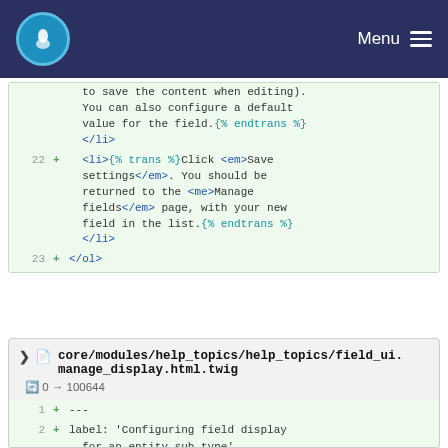Menu
[Figure (screenshot): Code diff view showing lines 22-23 of a template file with HTML list item content including trans/endtrans template tags and closing ol tag]
core/modules/help_topics/help_topics/field_ui.manage_display.html.twig 0 → 100644
[Figure (screenshot): Code diff view showing lines 1-4 of field_ui.manage_display.html.twig with YAML front matter: ---, label: 'Configuring field display for an entity sub-type', related:, - core.content_structure]